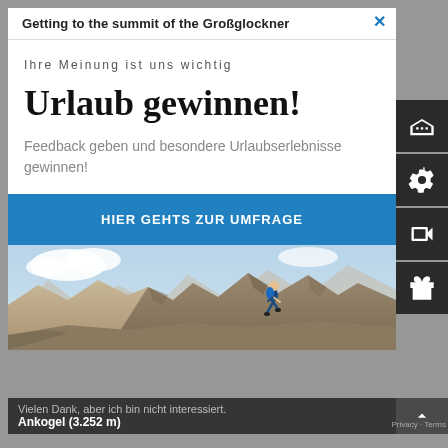Getting to the summit of the Großglockner
Ihre Meinung ist uns wichtig
Urlaub gewinnen!
Feedback geben und besondere Urlaubserlebnisse gewinnen!
HIER GEHTS ZUR UMFRAGE
[Figure (photo): Person hiking/running across rocky mountain terrain with dramatic peaks and cloudy sky in the background]
Vielen Dank, aber ich bin nicht interessiert.
Ankogel (3.252 m)